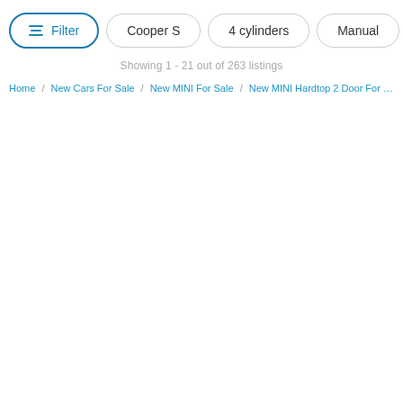Filter | Cooper S | 4 cylinders | Manual | Auto>
Showing 1 - 21 out of 263 listings
Home / New Cars For Sale / New MINI For Sale / New MINI Hardtop 2 Door For Sale / New MINI